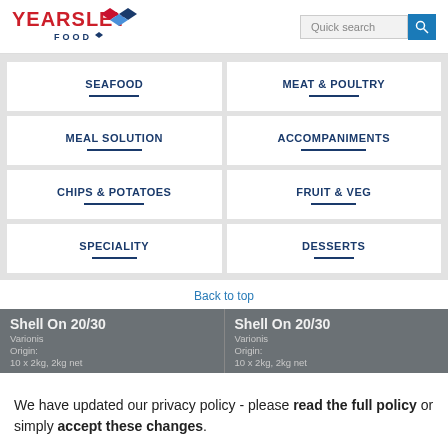[Figure (logo): Yearsley Food logo with red text and diamond graphic]
[Figure (screenshot): Quick search input box with teal search button]
SEAFOOD
MEAT & POULTRY
MEAL SOLUTION
ACCOMPANIMENTS
CHIPS & POTATOES
FRUIT & VEG
SPECIALITY
DESSERTS
Back to top
Shell On 20/30
Varionis
Origin:
10 x 2kg, 2kg net
Shell On 20/30
Varionis
Origin:
10 x 2kg, 2kg net
We have updated our privacy policy - please read the full policy or simply accept these changes.